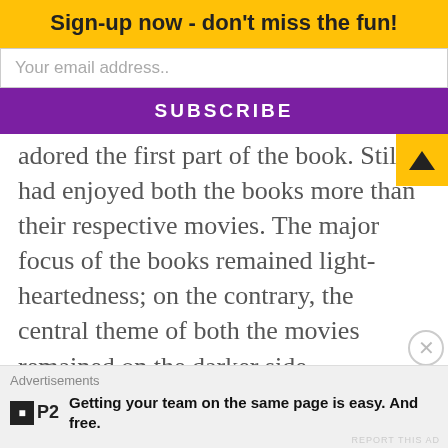Sign-up now - don't miss the fun!
Your email address..
SUBSCRIBE
adored the first part of the book. Still, I had enjoyed both the books more than their respective movies. The major focus of the books remained light-heartedness; on the contrary, the central theme of both the movies remained on the darker side.
Advertisements
Getting your team on the same page is easy. And free.
REPORT THIS AD